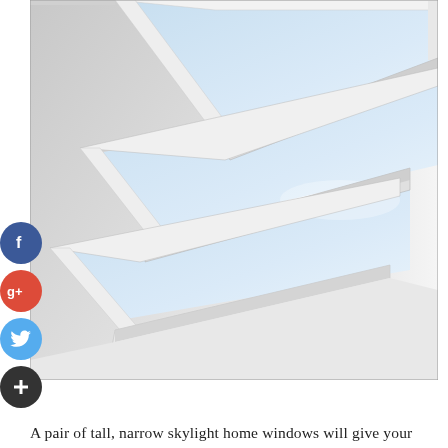[Figure (photo): Interior upward view of white-framed skylight windows set into a ceiling, showing pale blue sky through three horizontal panes. The frames are white and the surrounding ceiling is white/off-white.]
A pair of tall, narrow skylight home windows will give your